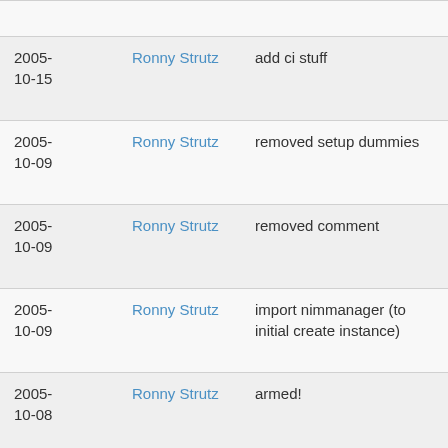| Date | Author | Message | Links |
| --- | --- | --- | --- |
|  |  | tree |  |
| 2005-10-15 | Ronny Strutz | add ci stuff | commit | commitdiff | tree |
| 2005-10-09 | Ronny Strutz | removed setup dummies | commit | commitdiff | tree |
| 2005-10-09 | Ronny Strutz | removed comment | commit | commitdiff | tree |
| 2005-10-09 | Ronny Strutz | import nimmanager (to initial create instance) | commit | commitdiff | tree |
| 2005-10-08 | Ronny Strutz | armed! | commit | commitdiff | tree |
| 2005-10-08 | Ronny Strutz | add comment | commit | commitdiff |